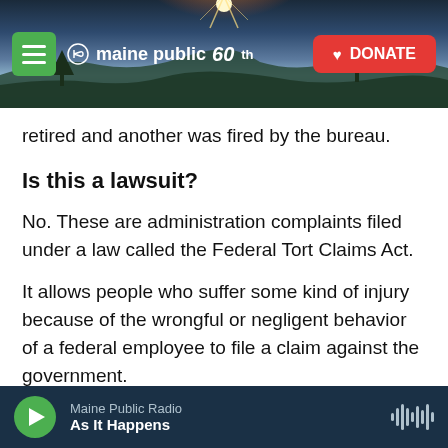[Figure (screenshot): Maine Public 60th anniversary website header banner with sunset/landscape background, green hamburger menu button, Maine Public 60 logo in white, and red DONATE button]
retired and another was fired by the bureau.
Is this a lawsuit?
No. These are administration complaints filed under a law called the Federal Tort Claims Act.
It allows people who suffer some kind of injury because of the wrongful or negligent behavior of a federal employee to file a claim against the government.
If the agency denies the claim or doesn't respond after…
Maine Public Radio — As It Happens (audio player bar)